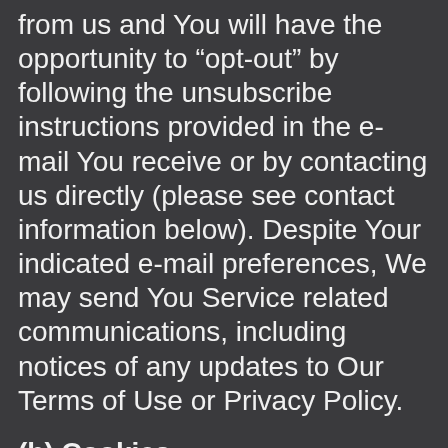from us and You will have the opportunity to “opt-out” by following the unsubscribe instructions provided in the e-mail You receive or by contacting us directly (please see contact information below). Despite Your indicated e-mail preferences, We may send You Service related communications, including notices of any updates to Our Terms of Use or Privacy Policy.
(b) Cookies
If You decide at any time that You no longer wish to accept Cookies from Our Site or Service for any of the